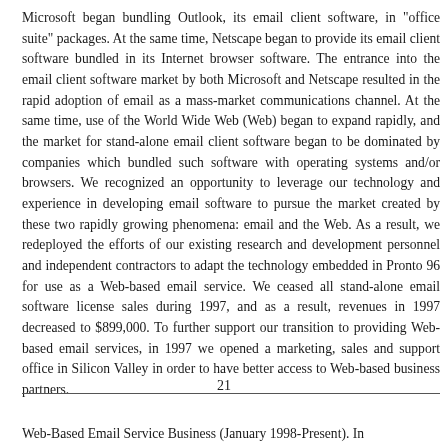Microsoft began bundling Outlook, its email client software, in "office suite" packages. At the same time, Netscape began to provide its email client software bundled in its Internet browser software. The entrance into the email client software market by both Microsoft and Netscape resulted in the rapid adoption of email as a mass-market communications channel. At the same time, use of the World Wide Web (Web) began to expand rapidly, and the market for stand-alone email client software began to be dominated by companies which bundled such software with operating systems and/or browsers. We recognized an opportunity to leverage our technology and experience in developing email software to pursue the market created by these two rapidly growing phenomena: email and the Web. As a result, we redeployed the efforts of our existing research and development personnel and independent contractors to adapt the technology embedded in Pronto 96 for use as a Web-based email service. We ceased all stand-alone email software license sales during 1997, and as a result, revenues in 1997 decreased to $899,000. To further support our transition to providing Web-based email services, in 1997 we opened a marketing, sales and support office in Silicon Valley in order to have better access to Web-based business partners.
21
Web-Based Email Service Business (January 1998-Present). In